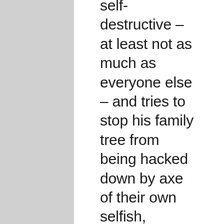self-destructive – at least not as much as everyone else – and tries to stop his family tree from being hacked down by axe of their own selfish, bullheaded ways. Mark Wahlberg is a sensible decision to play the innocuous, relatively stoic Ward. Not to mention that Wahlberg always looks like he is carved out of granite. For him to pick a role that requires him to simply take off his shirt and swing at things isn't really above his range. Marky Mark plays Micky Ward like a Rock-Em-Sock-Em-Robot with the smarts of a grapefruit. Maybe that is good